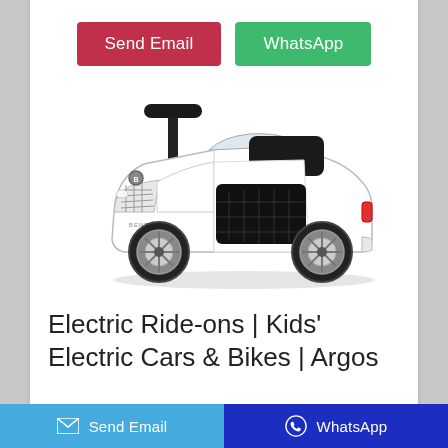[Figure (other): Two buttons: 'Send Email' (red/crimson) and 'WhatsApp' (green)]
[Figure (photo): White Bentley-style kids' ride-on push car toy with black seat and chrome wheels]
Electric Ride-ons | Kids' Electric Cars & Bikes | Argos
Send Email   WhatsApp